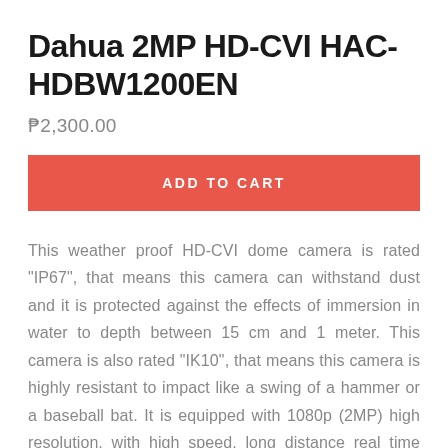Dahua 2MP HD-CVI HAC-HDBW1200EN
₱2,300.00
ADD TO CART
This weather proof HD-CVI dome camera is rated "IP67", that means this camera can withstand dust and it is protected against the effects of immersion in water to depth between 15 cm and 1 meter. This camera is also rated "IK10", that means this camera is highly resistant to impact like a swing of a hammer or a baseball bat. It is equipped with 1080p (2MP) high resolution, with high speed, long distance real time transmission that can switch to day and night mode.
Summary: